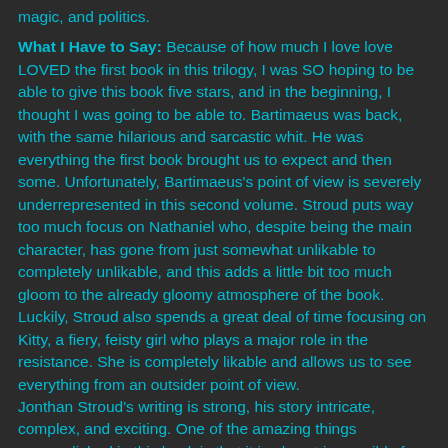magic, and politics.
What I Have to Say: Because of how much I love love LOVED the first book in this trilogy, I was SO hoping to be able to give this book five stars, and in the beginning, I thought I was going to be able to. Bartimaeus was back, with the same hilarious and sarcastic whit. He was everything the first book brought us to expect and then some. Unfortunately, Bartimaeus's point of view is severely underrepresented in this second volume. Stroud puts way too much focus on Nathaniel who, despite being the main character, has gone from just somewhat unlikable to completely unlikable, and this adds a little bit too much gloom to the already gloomy atmosphere of the book. Luckily, Stroud also spends a great deal of time focusing on Kitty, a fiery, feisty girl who plays a major role in the resistance. She is completely likable and allows us to see everything from an outsider point of view.
Jonthan Stroud's writing is strong, his story intricate, complex, and exciting. One of the amazing things accomplished in this book is that it is almost impossible for the reader to decide whose side they are on. Who are the good guys and who are the bad guys? It's hard to tell.